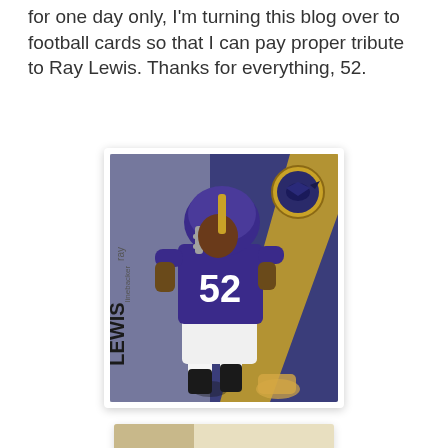for one day only, I'm turning this blog over to football cards so that I can pay proper tribute to Ray Lewis. Thanks for everything, 52.
[Figure (photo): Ray Lewis Baltimore Ravens football card showing player #52 in purple and white uniform in linebacker stance, with Ravens logo in gold circle top right, name 'ray LEWIS linebacker' on left side, silver/blue background with gold diagonal stripe]
[Figure (photo): Partial view of second football card at bottom of page, appears to show beige/tan background]